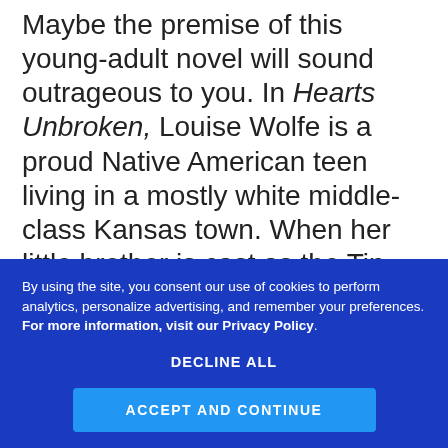Maybe the premise of this young-adult novel will sound outrageous to you. In Hearts Unbroken, Louise Wolfe is a proud Native American teen living in a mostly white middle-class Kansas town. When her little brother is cast as the Tin Man in the school's production of The Wizard of Oz, well, that sounds great. But as a journalist on the school paper, Lou (as she's known) finds herself covering backlash to the director's inclusive casting. A protest group called Parents Against Revisionist paper's photographer, even if it can be tricky
By using the site, you consent our use of cookies to perform analytics, personalize advertising, and remember your preferences. For more information, visit our Privacy Policy.
DECLINE ALL
ACCEPT AND CONTINUE